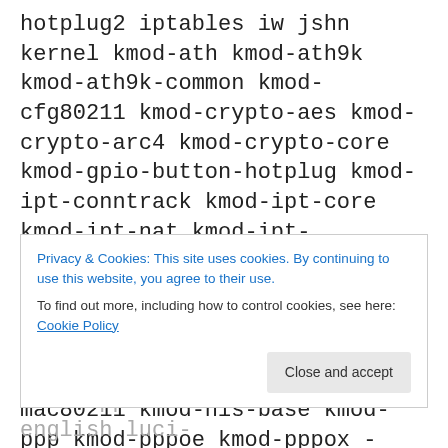hotplug2 iptables iw jshn kernel kmod-ath kmod-ath9k kmod-ath9k-common kmod-cfg80211 kmod-crypto-aes kmod-crypto-arc4 kmod-crypto-core kmod-gpio-button-hotplug kmod-ipt-conntrack kmod-ipt-core kmod-ipt-nat kmod-ipt-nathelper kmod-leds-gpio kmod-ledtrig-default-on kmod-ledtrig-netdev kmod-ledtrig-timer -kmod-ledtrig-usbdev kmod-lib-crc-ccitt kmod-mac80211 kmod-nls-base kmod-ppp kmod-pppoe kmod-pppox -kmod-usb-core -kmod-usb-ohci -kmod-usb2 kmod-
Privacy & Cookies: This site uses cookies. By continuing to use this website, you agree to their use.
To find out more, including how to control cookies, see here: Cookie Policy
luci-app-firewall luci-i18n-english luci-